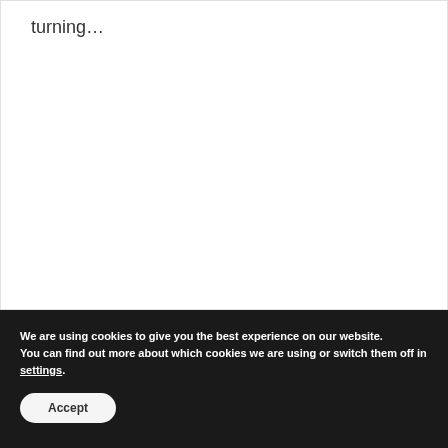turning...
We are using cookies to give you the best experience on our website.
You can find out more about which cookies we are using or switch them off in settings.
Accept